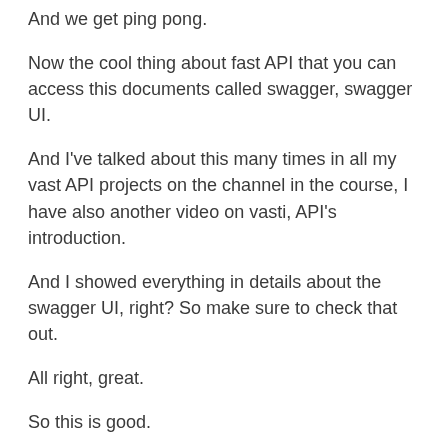And we get ping pong.
Now the cool thing about fast API that you can access this documents called swagger, swagger UI.
And I've talked about this many times in all my vast API projects on the channel in the course, I have also another video on vasti, API's introduction.
And I showed everything in details about the swagger UI, right? So make sure to check that out.
All right, great.
So this is good.
But this is useless to us, it's just to make sure that the server is responding.
So basically, in the to do application, we need four main, four